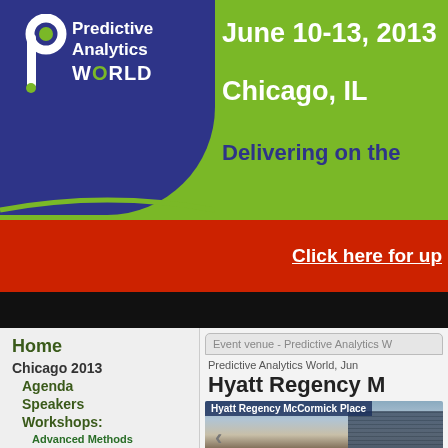[Figure (screenshot): Predictive Analytics World conference banner with logo, dates June 10-13 2013, Chicago IL, and tagline Delivering on the...]
Click here for up
Home
Chicago 2013
Agenda
Speakers
Workshops:
Advanced Methods Hands-on
Online Introduction to Predictive Analytics
Modeling Methods
Event venue - Predictive Analytics W
Predictive Analytics World, Jun
Hyatt Regency M
[Figure (photo): Photo of Hyatt Regency McCormick Place hotel building against evening sky]